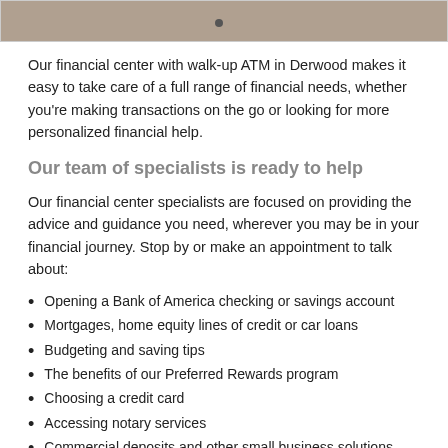[Figure (photo): Partial photo of an outdoor scene, likely a Bank of America financial center exterior]
Our financial center with walk-up ATM in Derwood makes it easy to take care of a full range of financial needs, whether you're making transactions on the go or looking for more personalized financial help.
Our team of specialists is ready to help
Our financial center specialists are focused on providing the advice and guidance you need, wherever you may be in your financial journey. Stop by or make an appointment to talk about:
Opening a Bank of America checking or savings account
Mortgages, home equity lines of credit or car loans
Budgeting and saving tips
The benefits of our Preferred Rewards program
Choosing a credit card
Accessing notary services
Commercial deposits and other small business solutions